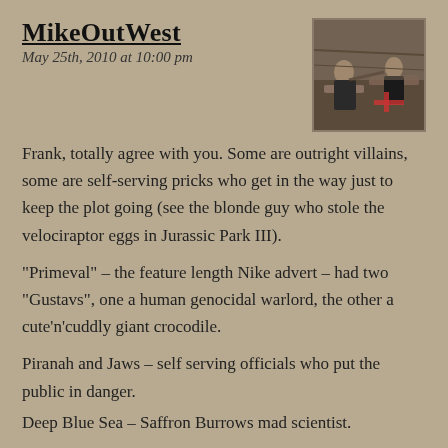MikeOutWest
May 25th, 2010 at 10:00 pm
[Figure (photo): A photo showing two people, appears to be a scene from a movie or TV show with figures in dark clothing]
Frank, totally agree with you. Some are outright villains, some are self-serving pricks who get in the way just to keep the plot going (see the blonde guy who stole the velociraptor eggs in Jurassic Park III).
“Primeval” – the feature length Nike advert – had two “Gustavs”, one a human genocidal warlord, the other a cute’n’cuddly giant crocodile.
Piranah and Jaws – self serving officials who put the public in danger.
Deep Blue Sea – Saffron Burrows mad scientist.